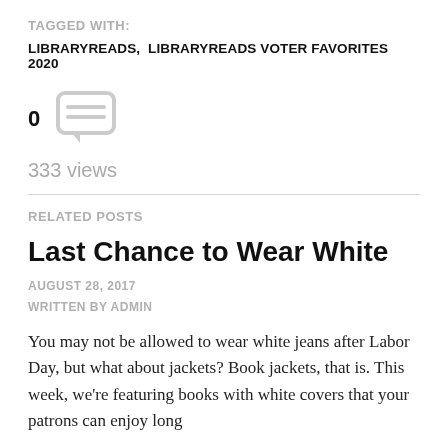TAGGED WITH:
LIBRARYREADS,  LIBRARYREADS VOTER FAVORITES 2020
0
333 views
RELATED POSTS
Last Chance to Wear White
AUGUST 28, 2017
WRITTEN BY ADMIN
You may not be allowed to wear white jeans after Labor Day, but what about jackets? Book jackets, that is. This week, we're featuring books with white covers that your patrons can enjoy long